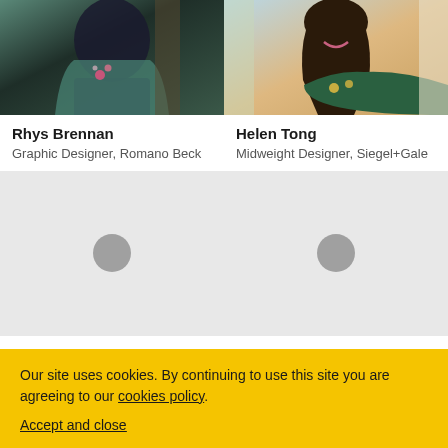[Figure (photo): Photo of Rhys Brennan wearing a black jacket with floral embroidery near a tree]
[Figure (photo): Photo of Helen Tong smiling, wearing a floral top]
Rhys Brennan
Graphic Designer, Romano Beck
Helen Tong
Midweight Designer, Siegel+Gale
[Figure (photo): Loading placeholder with grey circle icon]
[Figure (photo): Loading placeholder with grey circle icon]
Our site uses cookies. By continuing to use this site you are agreeing to our cookies policy.
Accept and close